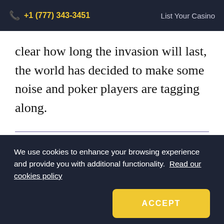+1 (777) 343-3451   List Your Casino
clear how long the invasion will last, the world has decided to make some noise and poker players are tagging along.
We use cookies to enhance your browsing experience and provide you with additional functionality. Read our cookies policy